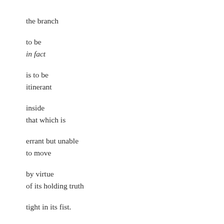the branch

to be
in fact

is to be
itinerant

inside
that which is

errant but unable
to move

by virtue
of its holding truth

tight in its fist.